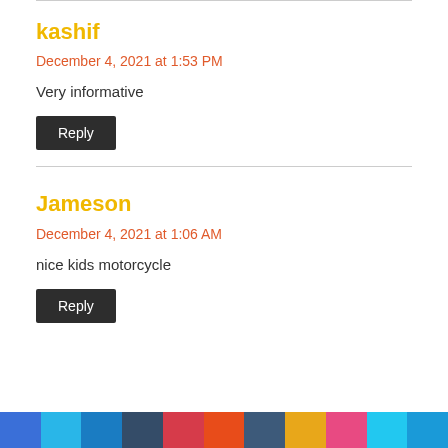kashif
December 4, 2021 at 1:53 PM
Very informative
Reply
Jameson
December 4, 2021 at 1:06 AM
nice kids motorcycle
Reply